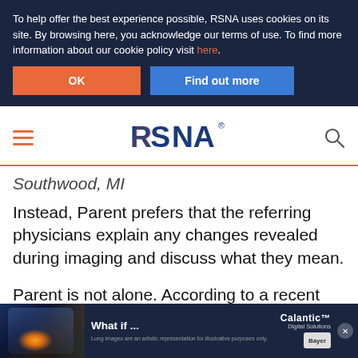To help offer the best experience possible, RSNA uses cookies on its site. By browsing here, you acknowledge our terms of use. To find more information about our cookie policy visit here.
OK | Find out more
[Figure (logo): RSNA logo with hamburger menu icon on left and search icon on right]
Southwood, MI
Instead, Parent prefers that the referring physicians explain any changes revealed during imaging and discuss what they mean.
Parent is not alone. According to a recent Radiology study designed to gauge the effectiveness of online patient portals, most patients undergoing imaging tests for known or sus
[Figure (screenshot): Advertisement overlay: Calantic Digital Solutions by Bayer with medical imaging background. Text reads 'What if ...' on dark blue background with glowing body scan image.]